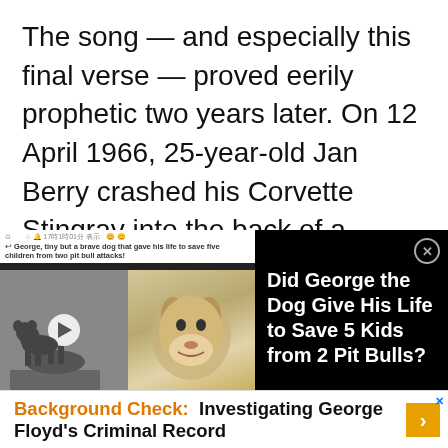The song — and especially this final verse — proved eerily prophetic two years later. On 12 April 1966, 25-year-old Jan Berry crashed his Corvette Stingray into the back of a parked truck on a side street in Beverly Hills. Berry, initially thought to be dead, was cut out of his car and rushed to the nearby UCLA Medical Center, where he spent several weeks in a coma with severe injuries to the head and brain. The career of Jan &
[Figure (screenshot): Ad overlay showing a dog story: 'Did George the Dog Give His Life to Save 5 Kids from 2 Pit Bulls?' with an image of a dog statue and a dog photo on the left, and text on black background on the right.]
[Figure (screenshot): Banner advertisement: 'Background Check: Investigating George Floyd's Criminal Record' with orange and black text on white background and a gold arrow button.]